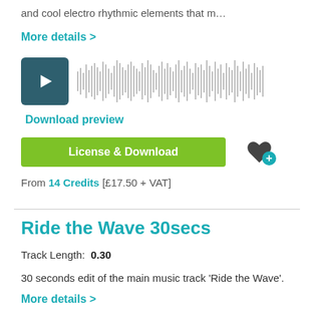and cool electro rhythmic elements that m…
More details >
[Figure (screenshot): Audio player with play button and waveform visualization]
Download preview
License & Download
From 14 Credits [£17.50 + VAT]
Ride the Wave 30secs
Track Length: 0.30
30 seconds edit of the main music track 'Ride the Wave'.
More details >